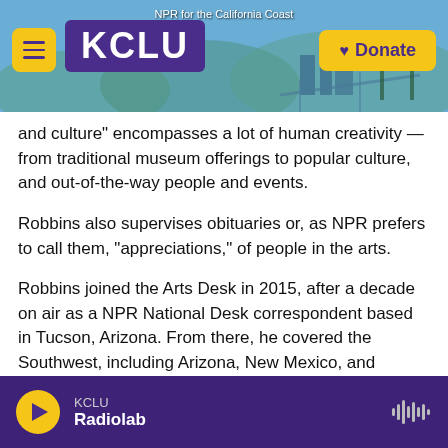NPR for the California Coast — KCLU — Donate
and culture" encompasses a lot of human creativity — from traditional museum offerings to popular culture, and out-of-the-way people and events.
Robbins also supervises obituaries or, as NPR prefers to call them, "appreciations," of people in the arts.
Robbins joined the Arts Desk in 2015, after a decade on air as a NPR National Desk correspondent based in Tucson, Arizona. From there, he covered the Southwest, including Arizona, New Mexico, and Nevada.
Robbins reported on a range of issues, from immigration and border security to water issues and wildfires. He
KCLU — Radiolab